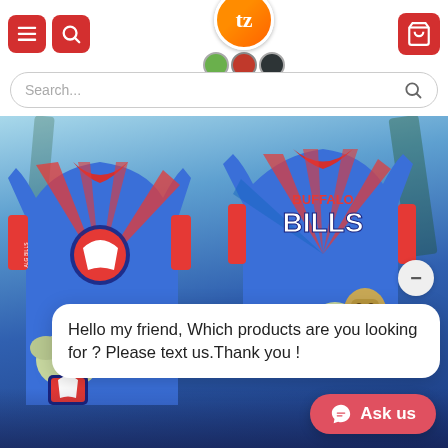[Figure (screenshot): Website header with hamburger menu icon, search icon (red buttons), orange logo with 'tz' in center, quality badges, and red shopping cart button]
[Figure (screenshot): Search bar with placeholder text 'Search...' and magnifying glass icon]
[Figure (photo): Buffalo Bills Hawaiian shirt product image showing front and back of blue and red shirt with Buffalo Bills branding and Baby Yoda character]
Hello my friend, Which products are you looking for ? Please text us.Thank you !
Ask us